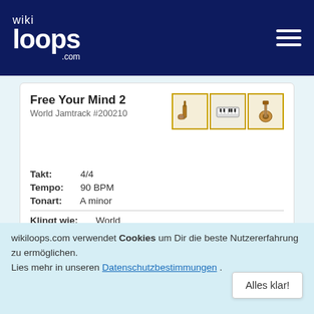[Figure (logo): wikiloops.com logo on dark navy header with hamburger menu icon]
Free Your Mind 2
World Jamtrack #200210
[Figure (illustration): Three instrument icons: electric guitar, bass/keyboard, acoustic guitar]
Takt: 4/4
Tempo: 90 BPM
Tonart: A minor
Klingt wie: World
Guilty Pleasure
World Jamtrack #216023
[Figure (illustration): Three instrument icons: acoustic guitar, bass guitar, microphone]
wikiloops.com verwendet Cookies um Dir die beste Nutzererfahrung zu ermöglichen.
Lies mehr in unseren Datenschutzbestimmungen .